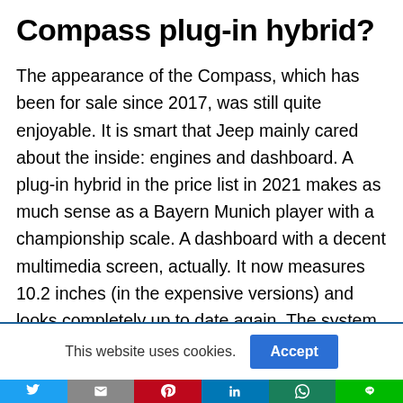Compass plug-in hybrid?
The appearance of the Compass, which has been for sale since 2017, was still quite enjoyable. It is smart that Jeep mainly cared about the inside: engines and dashboard. A plug-in hybrid in the price list in 2021 makes as much sense as a Bayern Munich player with a championship scale. A dashboard with a decent multimedia screen, actually. It now measures 10.2 inches (in the expensive versions) and looks completely up to date again. The system has DAB + radio and
This website uses cookies.
[Figure (infographic): Social sharing buttons row: Twitter (blue), Email (grey), Pinterest (red), LinkedIn (blue), WhatsApp (dark teal), LINE (green)]